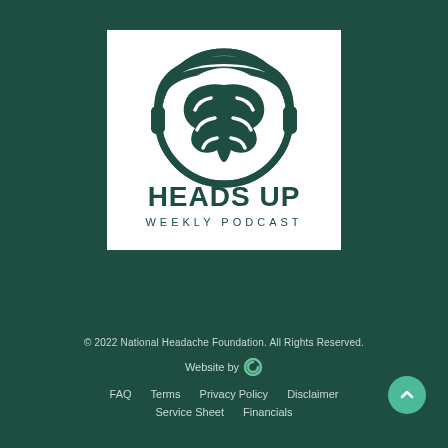[Figure (logo): Heads Up Weekly Podcast logo: a brain with headphones inside a circle, with text 'HEADS UP' in bold dark green and 'WEEKLY PODCAST' in spaced capitals below, on a white background]
© 2022 National Headache Foundation. All Rights Reserved. Website by [C logo] FAQ  Terms  Privacy Policy  Disclaimer  Service Sheet  Financials